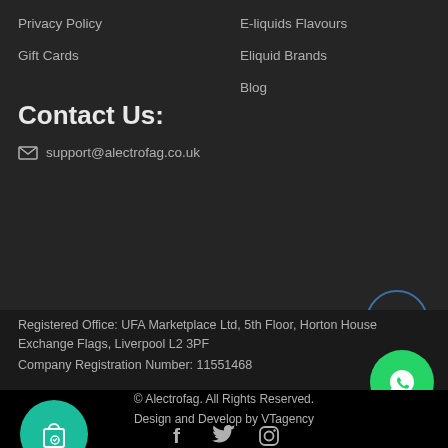Privacy Policy
Gift Cards
E-liquids Flavours
Eliquid Brands
Blog
Contact Us:
support@alectrofag.co.uk
Registered Office: UFA Marketplace Ltd, 5th Floor, Horton House Exchange Flags, Liverpool L2 3PF
Company Registration Number: 11551468
© Alectrofag. All Rights Reserved.
Design and Develop by VTagency